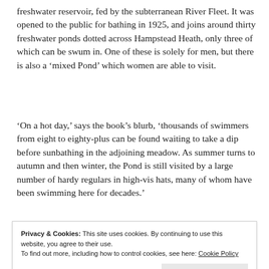freshwater reservoir, fed by the subterranean River Fleet. It was opened to the public for bathing in 1925, and joins around thirty freshwater ponds dotted across Hampstead Heath, only three of which can be swum in. One of these is solely for men, but there is also a ‘mixed Pond’ which women are able to visit.
‘On a hot day,’ says the book’s blurb, ‘thousands of swimmers from eight to eighty-plus can be found waiting to take a dip before sunbathing in the adjoining meadow. As summer turns to autumn and then winter, the Pond is still visited by a large number of hardy regulars in high-vis hats, many of whom have been swimming here for decades.’
Privacy & Cookies: This site uses cookies. By continuing to use this website, you agree to their use.
To find out more, including how to control cookies, see here: Cookie Policy
contributors also touch upon its history, and its rich literary